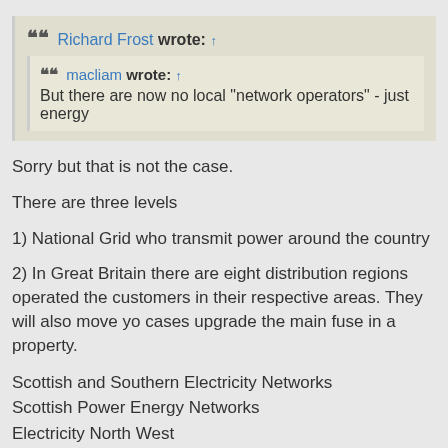Richard Frost wrote: ↑
  macliam wrote: ↑
  But there are now no local "network operators" - just energy
Sorry but that is not the case.
There are three levels
1) National Grid who transmit power around the country
2) In Great Britain there are eight distribution regions operated the customers in their respective areas. They will also move yo cases upgrade the main fuse in a property.
Scottish and Southern Electricity Networks
Scottish Power Energy Networks
Electricity North West
Northern Powergrid